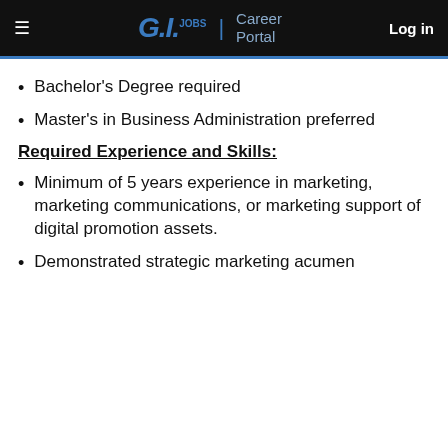G.I.JOBS | Career Portal   Log in
Bachelor's Degree required
Master's in Business Administration preferred
Required Experience and Skills:
Minimum of 5 years experience in marketing, marketing communications, or marketing support of digital promotion assets.
Demonstrated strategic marketing acumen